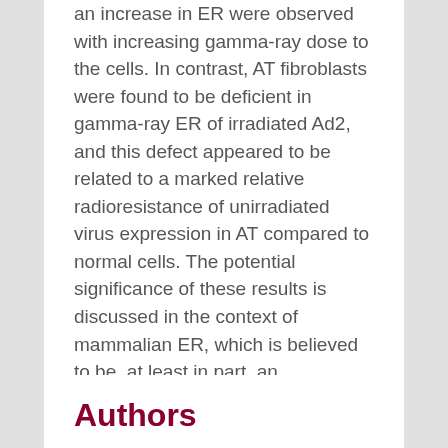an increase in ER were observed with increasing gamma-ray dose to the cells. In contrast, AT fibroblasts were found to be deficient in gamma-ray ER of irradiated Ad2, and this defect appeared to be related to a marked relative radioresistance of unirradiated virus expression in AT compared to normal cells. The potential significance of these results is discussed in the context of mammalian ER, which is believed to be, at least in part, an expression of a mutagen-inducible (and possibly error-prone) DNA repair mechanism.
Authors
Jeeves, WP
Rainbow, Andrew